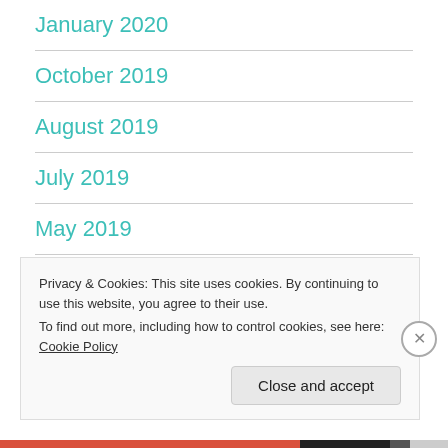January 2020
October 2019
August 2019
July 2019
May 2019
April 2019
Privacy & Cookies: This site uses cookies. By continuing to use this website, you agree to their use.
To find out more, including how to control cookies, see here: Cookie Policy
Close and accept